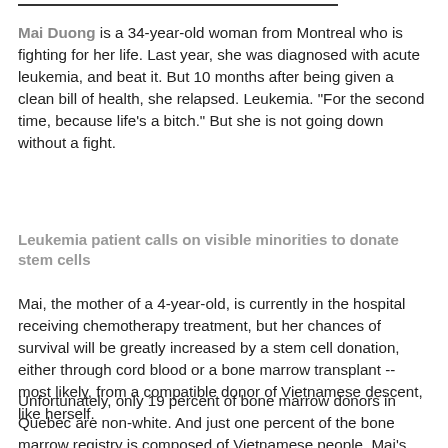Mai Duong is a 34-year-old woman from Montreal who is fighting for her life. Last year, she was diagnosed with acute leukemia, and beat it. But 10 months after being given a clean bill of health, she relapsed. Leukemia. "For the second time, because life's a bitch." But she is not going down without a fight.
Leukemia patient calls on visible minorities to donate stem cells
Mai, the mother of a 4-year-old, is currently in the hospital receiving chemotherapy treatment, but her chances of survival will be greatly increased by a stem cell donation, either through cord blood or a bone marrow transplant -- most likely, from a compatible donor of Vietnamese descent, like herself.
Unfortunately, only 19 percent of bone marrow donors in Quebec are non-white. And just one percent of the bone marrow registry is composed of Vietnamese people. Mai's